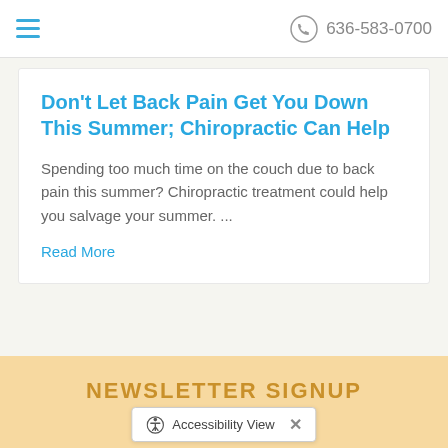636-583-0700
Don't Let Back Pain Get You Down This Summer; Chiropractic Can Help
Spending too much time on the couch due to back pain this summer? Chiropractic treatment could help you salvage your summer. ...
Read More
[Figure (other): Pause button icon — circular button with two vertical bars (pause symbol) in blue]
NEWSLETTER SIGNUP
Accessibility View